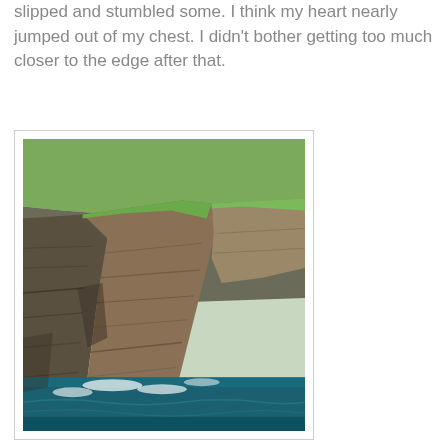slipped and stumbled some. I think my heart nearly jumped out of my chest. I didn't bother getting too much closer to the edge after that.
[Figure (photo): Photograph of the Cliffs of Moher showing dramatic steep rocky cliff faces with green grass on top, dropping down to dark blue-green ocean water with white waves at the base.]